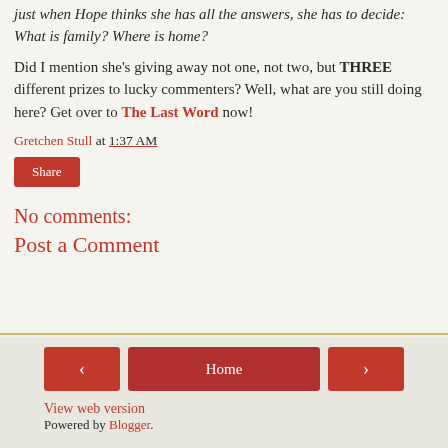just when Hope thinks she has all the answers, she has to decide: What is family? Where is home?
Did I mention she's giving away not one, not two, but THREE different prizes to lucky commenters? Well, what are you still doing here? Get over to The Last Word now!
Gretchen Stull at 1:37 AM
Share
No comments:
Post a Comment
< Home > View web version Powered by Blogger.